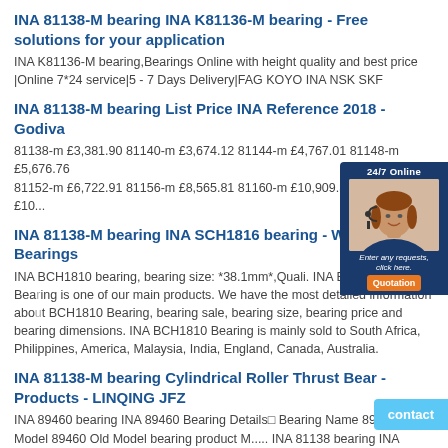INA 81138-M bearing INA K81136-M bearing - Free solutions for your application
INA K81136-M bearing,Bearings Online with height quality and best price |Online 7*24 service|5 - 7 Days Delivery|FAG KOYO INA NSK SKF
INA 81138-M bearing List Price INA Reference 2018 - Godiva
81138-m £3,381.90 81140-m £3,674.12 81144-m £4,767.01 81148-m £5,676.76 81152-m £6,722.91 81156-m £8,565.81 81160-m £10,909.36 81164-m £10...
INA 81138-M bearing INA SCH1816 bearing - Worldwide Bearings
INA BCH1810 bearing, bearing size: *38.1mm*,Quali. INA BCH1810 Bearing is one of our main products. We have the most detailed information about BCH1810 Bearing, bearing sale, bearing size, bearing price and bearing dimensions. INA BCH1810 Bearing is mainly sold to South Africa, Philippines, America, Malaysia, India, England, Canada, Australia.
INA 81138-M bearing Cylindrical Roller Thrust Bear - Products - LINQING JFZ
INA 89460 bearing INA 89460 Bearing Details□ Bearing Name 89460 New Model 89460 Old Model bearing product M..... INA 81138 bearing INA 81138 Bearing Details□ Bearing Name 81138 New Model 81138 Old Model bearing product M.....
[Figure (other): Chat widget with woman wearing headset and 24/7 Online label and Quotation button]